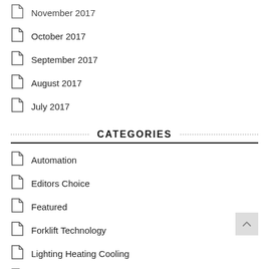November 2017
October 2017
September 2017
August 2017
July 2017
CATEGORIES
Automation
Editors Choice
Featured
Forklift Technology
Lighting Heating Cooling
Multimodal Supply Chains
Pallets Packaging
Power
Press Release
Reverse Logistics